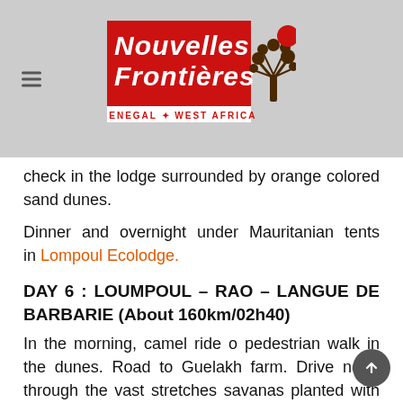Nouvelles Frontieres — Senegal West Africa logo
check in the lodge surrounded by orange colored sand dunes.
Dinner and overnight under Mauritanian tents in Lompoul Ecolodge.
DAY 6 : LOUMPOUL – RAO – LANGUE DE BARBARIE (About 160km/02h40)
In the morning, camel ride o pedestrian walk in the dunes. Road to Guelakh farm. Drive north through the vast stretches savanas planted with acacia trees all the way down to the first rice fields of the delta of the river Senegal, in the region of Saint louis. Meeting with the coordinator of this project whose aim is to stop the exodus of the young people in the region training them to become successful traders. Besides the mediocre defense in